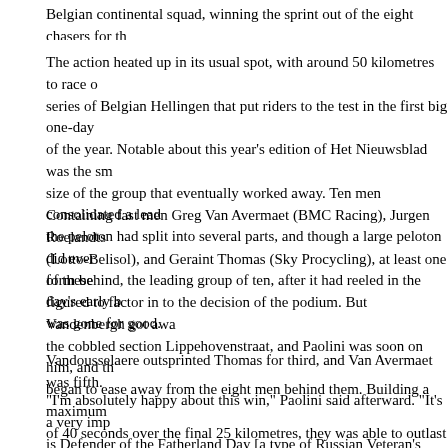Belgian continental squad, winning the sprint out of the eight chasers for th
The action heated up in its usual spot, with around 50 kilometres to race on series of Belgian Hellingen that put riders to the test in the first big one-day of the year. Notable about this year's edition of Het Nieuwsblad was the sm size of the group that eventually worked away. Ten men consolidated a lead the peloton had split into several parts, and though a large peloton did ever form behind, the leading group of ten, after it had reeled in the day's early b was gone for good.
Containing fast men Greg Van Avermaet (BMC Racing), Jurgen Roelandts (Lotto-Belisol), and Geraint Thomas (Sky Procycling), at least one of these figured to factor in to the decision of the podium. But Vandenbergh got awa the cobbled section Lippehovenstraat, and Paolini was soon on him, and th began to ease away from the eight men behind them. Building a maximum of 40 seconds over the final 25 kilometres, they was able to outlast all the chasers on the bitterly cold day in Belgium.
Vandousselaere outsprinted Thomas for third, and Van Avermaet was fifth.
"I'm absolutely happy about this win," Paolini said afterward. "It's a very imp is Defender of the Fatherland Day [a type of Russian Veteran's Day - ed.]. was a special triumph for me in a very prestigious competition, one of the m condition despite the cold weather, and in the end I managed to win thanks worked great. In the morning we decided the strategy, and everything wen